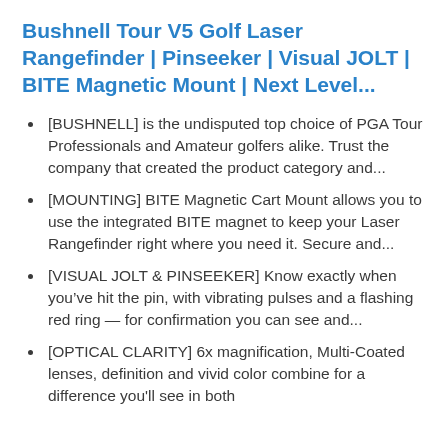Bushnell Tour V5 Golf Laser Rangefinder | Pinseeker | Visual JOLT | BITE Magnetic Mount | Next Level...
[BUSHNELL] is the undisputed top choice of PGA Tour Professionals and Amateur golfers alike. Trust the company that created the product category and...
[MOUNTING] BITE Magnetic Cart Mount allows you to use the integrated BITE magnet to keep your Laser Rangefinder right where you need it. Secure and...
[VISUAL JOLT & PINSEEKER] Know exactly when you've hit the pin, with vibrating pulses and a flashing red ring — for confirmation you can see and...
[OPTICAL CLARITY] 6x magnification, Multi-Coated lenses, definition and vivid color combine for a difference you'll see in both